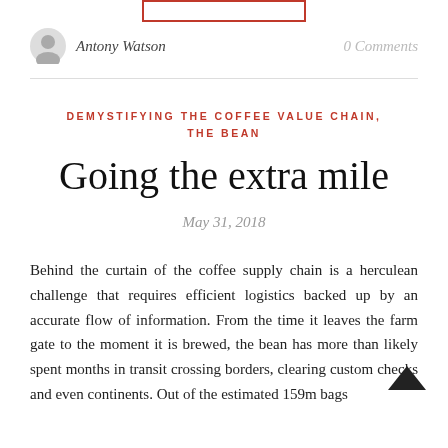[Figure (other): Red rectangle border at top center of page, partial navigation bar element]
Antony Watson
0 Comments
DEMYSTIFYING THE COFFEE VALUE CHAIN, THE BEAN
Going the extra mile
May 31, 2018
Behind the curtain of the coffee supply chain is a herculean challenge that requires efficient logistics backed up by an accurate flow of information. From the time it leaves the farm gate to the moment it is brewed, the bean has more than likely spent months in transit crossing borders, clearing custom checks and even continents. Out of the estimated 159m bags